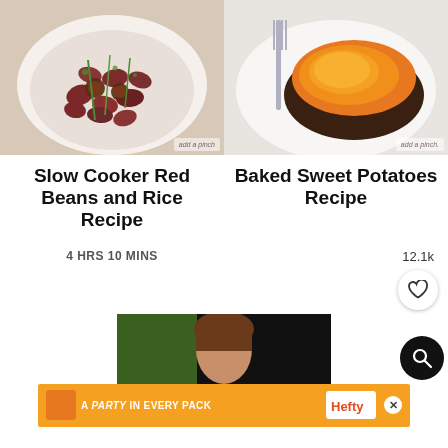[Figure (photo): Overhead shot of slow cooker red beans with sausage slices and green onions in a white bowl on a white plate, watermark 'add a pinch']
[Figure (photo): Baked sweet potato split open showing orange flesh on a white plate with a fork, watermark 'add a pinch.']
Slow Cooker Red Beans and Rice Recipe
Baked Sweet Potatoes Recipe
4 HRS 10 MINS
12.1k
[Figure (photo): Partial photo of a woman with brown hair against a dark/green background]
[Figure (other): Advertisement banner: orange background with 'A PARTY in EVERY PACK' text and Hefty branding, with a close button]